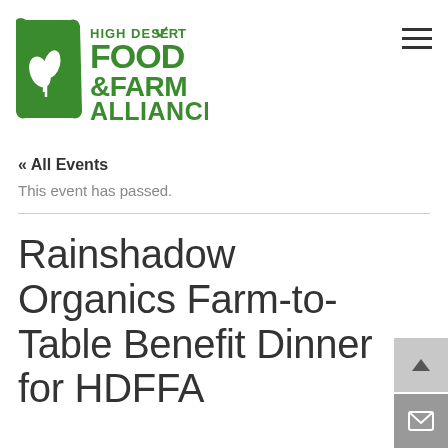[Figure (logo): High Desert Food & Farm Alliance green logo with stylized flag shape containing leaf/plant graphic, and bold green text reading HIGH DESERT FOOD &FARM ALLIANCE]
« All Events
This event has passed.
Rainshadow Organics Farm-to-Table Benefit Dinner for HDFFA